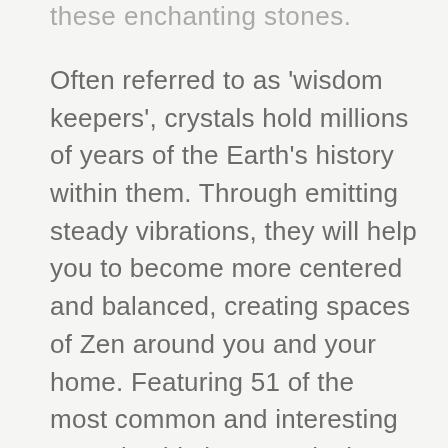these enchanting stones.
Often referred to as 'wisdom keepers', crystals hold millions of years of the Earth's history within them. Through emitting steady vibrations, they will help you to become more centered and balanced, creating spaces of Zen around you and your home. Featuring 51 of the most common and interesting crystals, this is a practical guide that will teach you about each stone's individual properties and how to harness their powers. Discover which crystals are right for you, where best to position them, the perfect pairings, and